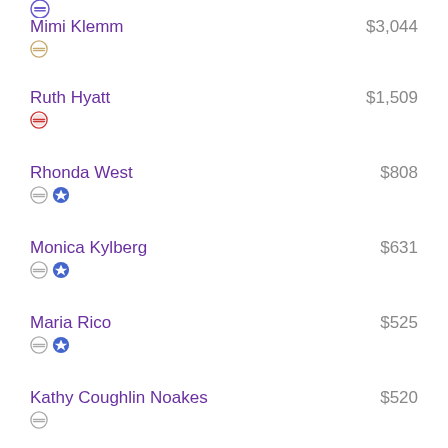Mimi Klemm $3,044
Ruth Hyatt $1,509
Rhonda West $808
Monica Kylberg $631
Maria Rico $525
Kathy Coughlin Noakes $520
Karen Peace $517
Vicki Hinson $400